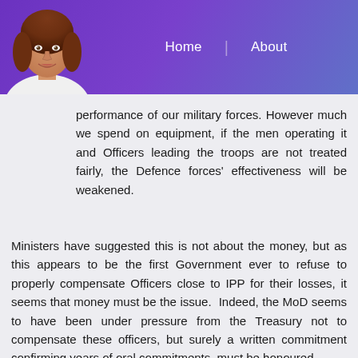Home | About
performance of our military forces. However much we spend on equipment, if the men operating it and Officers leading the troops are not treated fairly, the Defence forces' effectiveness will be weakened.
Ministers have suggested this is not about the money, but as this appears to be the first Government ever to refuse to properly compensate Officers close to IPP for their losses, it seems that money must be the issue. Indeed, the MoD seems to have been under pressure from the Treasury not to compensate these officers, but surely a written commitment confirming years of oral commitments, must be honoured.